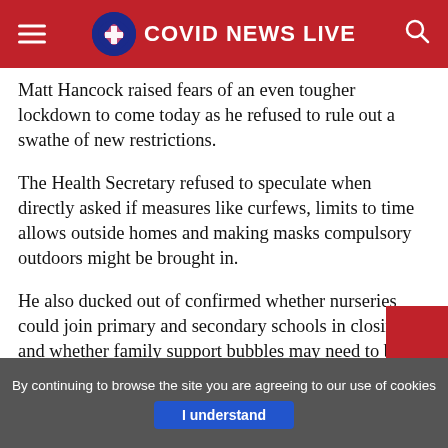COVID NEWS LIVE
Matt Hancock raised fears of an even tougher lockdown to come today as he refused to rule out a swathe of new restrictions.
The Health Secretary refused to speculate when directly asked if measures like curfews, limits to time allows outside homes and making masks compulsory outdoors might be brought in.
He also ducked out of confirmed whether nurseries could join primary and secondary schools in closing, and whether family support bubbles may need to be axed.
It came as a senior Government science advisor said it would become clear whether the current...
By continuing to browse the site you are agreeing to our use of cookies